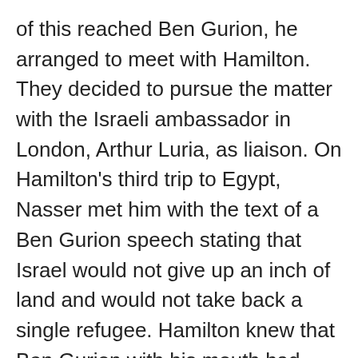of this reached Ben Gurion, he arranged to meet with Hamilton. They decided to pursue the matter with the Israeli ambassador in London, Arthur Luria, as liaison. On Hamilton's third trip to Egypt, Nasser met him with the text of a Ben Gurion speech stating that Israel would not give up an inch of land and would not take back a single refugee. Hamilton knew that Ben Gurion with his mouth had undermined a peace mission and missed an opportunity to settle the Israeli-Arab conflict.
Nasser even sent his friend Ibrahim Izat of the Ruz El Yusuf weekly paper to meet with Israeli leaders in order to explore the political atmosphere and find